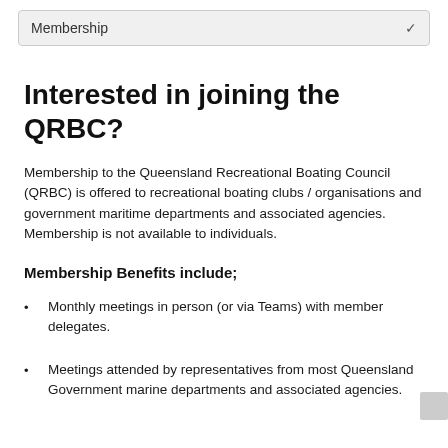Membership
Interested in joining the QRBC?
Membership to the Queensland Recreational Boating Council (QRBC) is offered to recreational boating clubs / organisations and government maritime departments and associated agencies.  Membership is not available to individuals.
Membership Benefits include;
Monthly meetings in person (or via Teams) with member delegates.
Meetings attended by representatives from most Queensland Government marine departments and associated agencies.